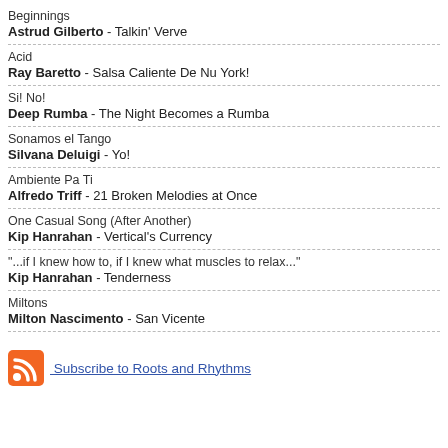Beginnings
Astrud Gilberto - Talkin' Verve
Acid
Ray Baretto - Salsa Caliente De Nu York!
Si! No!
Deep Rumba - The Night Becomes a Rumba
Sonamos el Tango
Silvana Deluigi - Yo!
Ambiente Pa Ti
Alfredo Triff - 21 Broken Melodies at Once
One Casual Song (After Another)
Kip Hanrahan - Vertical's Currency
"...if I knew how to, if I knew what muscles to relax..."
Kip Hanrahan - Tenderness
Miltons
Milton Nascimento - San Vicente
Subscribe to Roots and Rhythms